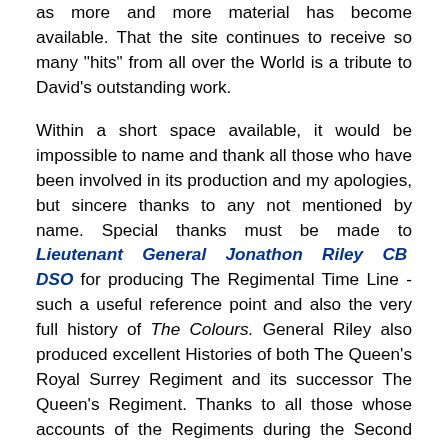as more and more material has become available. That the site continues to receive so many "hits" from all over the World is a tribute to David's outstanding work.
Within a short space available, it would be impossible to name and thank all those who have been involved in its production and my apologies, but sincere thanks to any not mentioned by name. Special thanks must be made to Lieutenant General Jonathon Riley CB DSO for producing The Regimental Time Line - such a useful reference point and also the very full history of The Colours. General Riley also produced excellent Histories of both The Queen's Royal Surrey Regiment and its successor The Queen's Regiment. Thanks to all those whose accounts of the Regiments during the Second World War make such compelling reading: Brigadier Geoffrey Curtis OBE MC, Major Bob Johnson, Lieutenant Colonel Mike Lowry MBE MC and Brigadier Michael Perrett Young MBE. Lieutenant Colonel Geoff Mason MBE for his history of the Surreys 1945-1959, Colonel